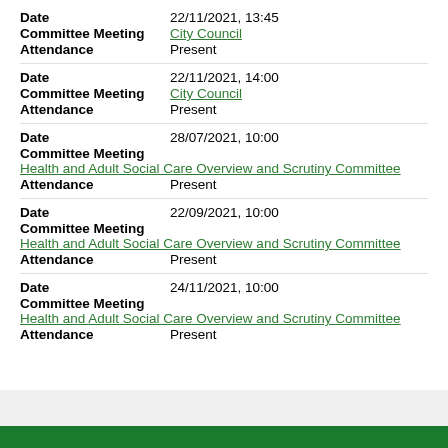Date: 22/11/2021, 13:45
Committee Meeting: City Council
Attendance: Present
Date: 22/11/2021, 14:00
Committee Meeting: City Council
Attendance: Present
Date: 28/07/2021, 10:00
Committee Meeting: Health and Adult Social Care Overview and Scrutiny Committee
Attendance: Present
Date: 22/09/2021, 10:00
Committee Meeting: Health and Adult Social Care Overview and Scrutiny Committee
Attendance: Present
Date: 24/11/2021, 10:00
Committee Meeting: Health and Adult Social Care Overview and Scrutiny Committee
Attendance: Present